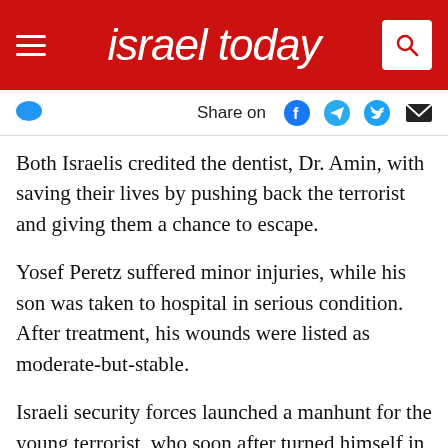israel today
Share on
Both Israelis credited the dentist, Dr. Amin, with saving their lives by pushing back the terrorist and giving them a chance to escape.
Yosef Peretz suffered minor injuries, while his son was taken to hospital in serious condition. After treatment, his wounds were listed as moderate-but-stable.
Israeli security forces launched a manhunt for the young terrorist, who soon after turned himself in to Palestinian Authority police.
The harrowing incident will make Israelis think twice